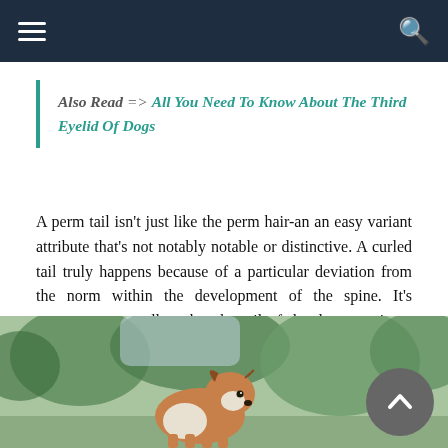Navigation bar with hamburger menu and search icon
Also Read => All You Need To Know About The Third Eyelid Of Dogs
A perm tail isn't just like the perm hair-an an easy variant attribute that's not notably notable or distinctive. A curled tail truly happens because of a particular deviation from the norm within the development of the spine. It's necessary to recollect that the tail of the dog contains a bone associate degree. Gristle associate degree is an extension of the spine itself and not simply one thing that's stuck onto the rear as an afterthought!
[Figure (photo): A dog (appears to be a Basenji or Corgi type) photographed outdoors with green foliage in the background]